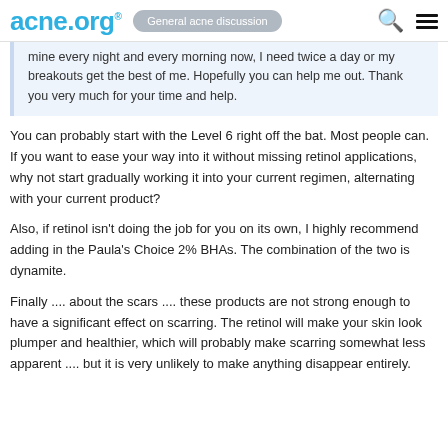acne.org® General acne discussion
mine every night and every morning now, I need twice a day or my breakouts get the best of me. Hopefully you can help me out. Thank you very much for your time and help.
You can probably start with the Level 6 right off the bat. Most people can. If you want to ease your way into it without missing retinol applications, why not start gradually working it into your current regimen, alternating with your current product?
Also, if retinol isn't doing the job for you on its own, I highly recommend adding in the Paula's Choice 2% BHAs. The combination of the two is dynamite.
Finally .... about the scars .... these products are not strong enough to have a significant effect on scarring. The retinol will make your skin look plumper and healthier, which will probably make scarring somewhat less apparent .... but it is very unlikely to make anything disappear entirely.